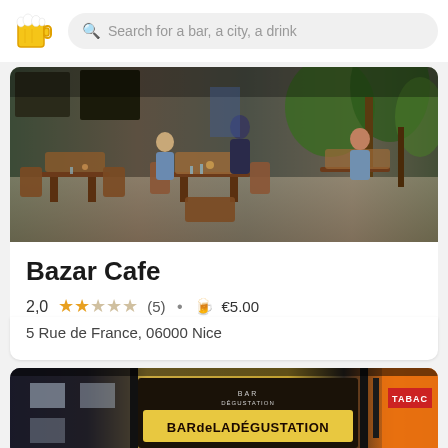Search for a bar, a city, a drink
[Figure (photo): Interior/exterior restaurant photo showing tables, chairs, and green plants at Bazar Cafe]
Bazar Cafe
2,0 ★★☆☆☆ (5) • 🍺 €5.00
5 Rue de France, 06000 Nice
[Figure (photo): Storefront photo of Bar de la Dégustation with illuminated sign]